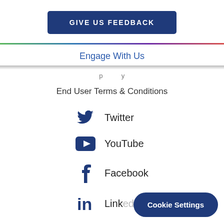GIVE US FEEDBACK
Engage With Us
End User Terms & Conditions
Twitter
YouTube
Facebook
LinkedIn
Cookie Settings